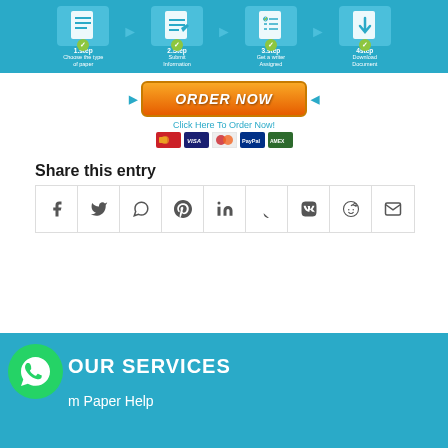[Figure (infographic): 4-step order process banner with blue boxes: 1.Step Choose the type of paper, 2.Step Submit Information, 3.Step Get a writer Assigned, 4.Step Download Document, with green checkmarks and arrows between steps]
[Figure (infographic): Orange ORDER NOW button with text 'Click Here To Order Now!' and payment method icons below]
Share this entry
[Figure (infographic): Social share buttons grid with 9 icons: Facebook, Twitter, WhatsApp, Pinterest, LinkedIn, Tumblr, VK, Reddit, Email]
OUR SERVICES
m Paper Help
[Figure (logo): WhatsApp green circle logo button]